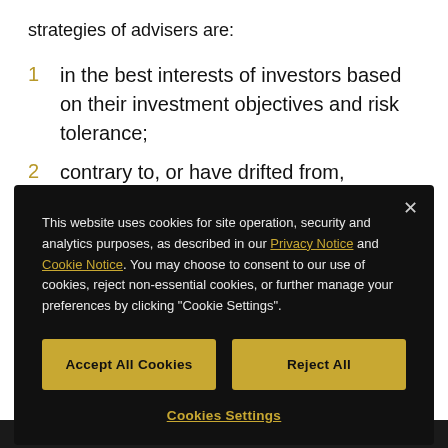strategies of advisers are:
1  in the best interests of investors based on their investment objectives and risk tolerance;
2  contrary to, or have drifted from, disclosures to
This website uses cookies for site operation, security and analytics purposes, as described in our Privacy Notice and Cookie Notice. You may choose to consent to our use of cookies, reject non-essential cookies, or further manage your preferences by clicking "Cookie Settings".
Accept All Cookies
Reject All
Cookies Settings
registered for several years that have not yet been